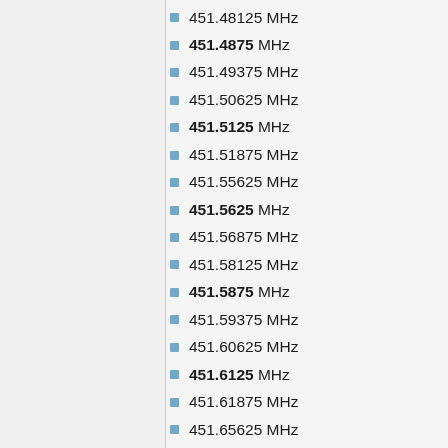451.48125 MHz
451.4875 MHz
451.49375 MHz
451.50625 MHz
451.5125 MHz
451.51875 MHz
451.55625 MHz
451.5625 MHz
451.56875 MHz
451.58125 MHz
451.5875 MHz
451.59375 MHz
451.60625 MHz
451.6125 MHz
451.61875 MHz
451.65625 MHz
451.6625 MHz
451.66875 MHz
451.68125 MHz
451.6875 MHz
451.69375 MHz
451.70625 MHz